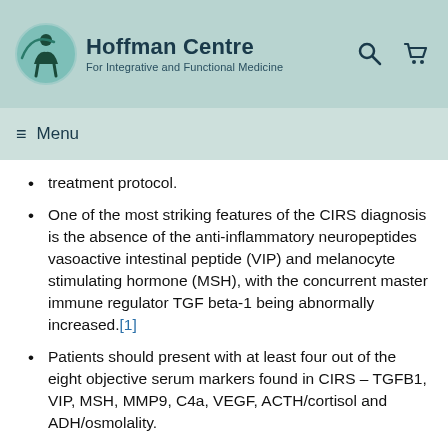Hoffman Centre For Integrative and Functional Medicine
treatment protocol.
One of the most striking features of the CIRS diagnosis is the absence of the anti-inflammatory neuropeptides vasoactive intestinal peptide (VIP) and melanocyte stimulating hormone (MSH), with the concurrent master immune regulator TGF beta-1 being abnormally increased.[1]
Patients should present with at least four out of the eight objective serum markers found in CIRS – TGFB1, VIP, MSH, MMP9, C4a, VEGF, ACTH/cortisol and ADH/osmolality.